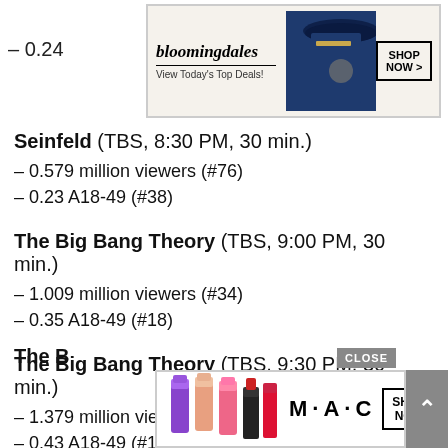[Figure (other): Bloomingdale's advertisement banner with logo, 'View Today's Top Deals!' tagline, woman in hat image, and 'SHOP NOW >' button]
– 0.24
Seinfeld (TBS, 8:30 PM, 30 min.)
– 0.579 million viewers (#76)
– 0.23 A18-49 (#38)
The Big Bang Theory (TBS, 9:00 PM, 30 min.)
– 1.009 million viewers (#34)
– 0.35 A18-49 (#18)
The Big Bang Theory (TBS, 9:30 PM, 30 min.)
– 1.379 million viewers (#15)
– 0.43 A18-49 (#12)
The B
[Figure (other): MAC cosmetics advertisement with lipsticks image, MAC logo, and 'SHOP NOW' button]